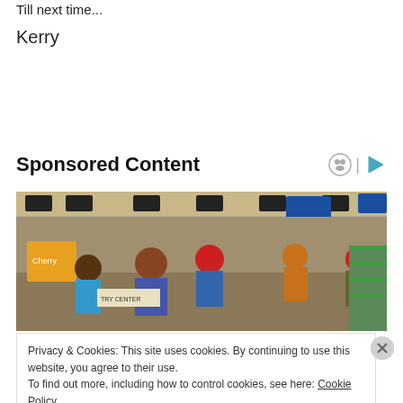Till next time...
Kerry
Sponsored Content
[Figure (photo): Interior of a busy retail store (Walmart-style) with shoppers, checkout lanes, shelving, and blue signage overhead.]
Privacy & Cookies: This site uses cookies. By continuing to use this website, you agree to their use.
To find out more, including how to control cookies, see here: Cookie Policy
Close and accept